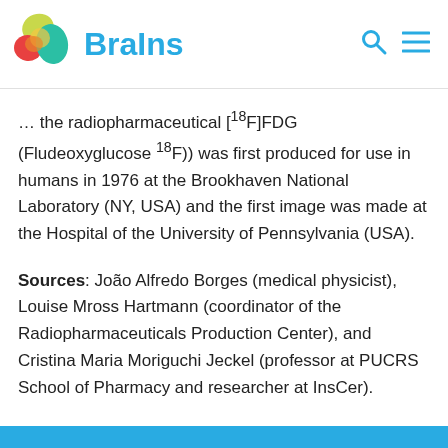BraIns
... the radiopharmaceutical [18F]FDG (Fludeoxyglucose 18F)) was first produced for use in humans in 1976 at the Brookhaven National Laboratory (NY, USA) and the first image was made at the Hospital of the University of Pennsylvania (USA).
Sources: João Alfredo Borges (medical physicist), Louise Mross Hartmann (coordinator of the Radiopharmaceuticals Production Center), and Cristina Maria Moriguchi Jeckel (professor at PUCRS School of Pharmacy and researcher at InsCer).